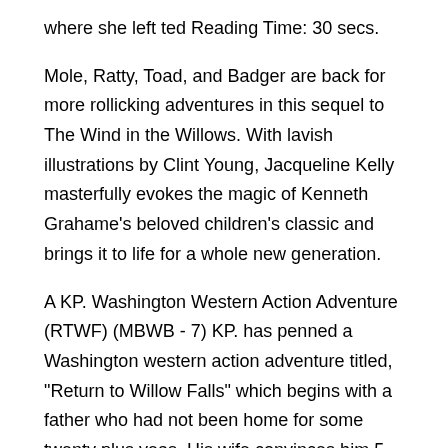where she left ted Reading Time: 30 secs.
Mole, Ratty, Toad, and Badger are back for more rollicking adventures in this sequel to The Wind in the Willows. With lavish illustrations by Clint Young, Jacqueline Kelly masterfully evokes the magic of Kenneth Grahame's beloved children's classic and brings it to life for a whole new generation.
A KP. Washington Western Action Adventure (RTWF) (MBWB - 7) KP. has penned a Washington western action adventure titled, "Return to Willow Falls" which begins with a father who had not been home for some twenty plus yeas. His wife convinces him 5. The film may be a childhood favorite, but the books were clearly intended for an adult audience given their grim tone.
And while the new Disney series is coming at a time where the original fans are themselves adults, there's an obvious question about whether the future George Lucas had in mind for Willow and Elora in is the right one for audiences now.
Book Overview: Mole, Ratty, Toad, and Badger are back for more